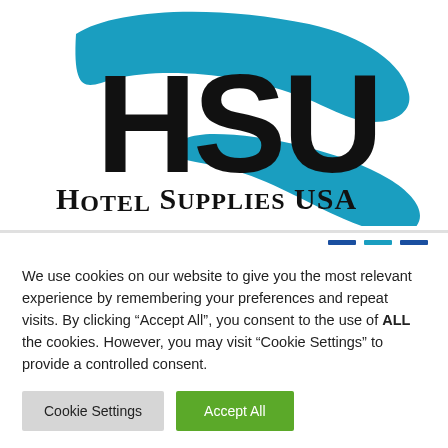[Figure (logo): Hotel Supplies USA logo with large HSU letters in black and a teal/blue swoosh design around them, with 'Hotel Supplies USA' text below in bold serif-style font]
We use cookies on our website to give you the most relevant experience by remembering your preferences and repeat visits. By clicking “Accept All”, you consent to the use of ALL the cookies. However, you may visit "Cookie Settings" to provide a controlled consent.
Cookie Settings | Accept All